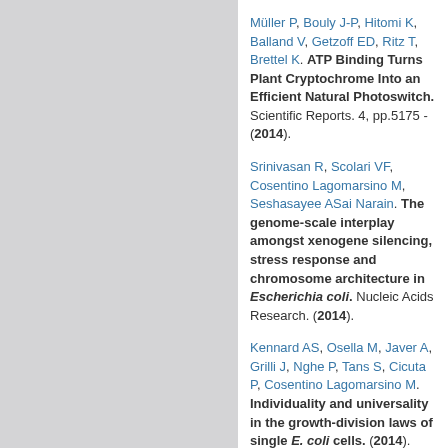Müller P, Bouly J-P, Hitomi K, Balland V, Getzoff ED, Ritz T, Brettel K. ATP Binding Turns Plant Cryptochrome Into an Efficient Natural Photoswitch. Scientific Reports. 4, pp.5175 - (2014).
Srinivasan R, Scolari VF, Cosentino Lagomarsino M, Seshasayame ASai Narain. The genome-scale interplay amongst xenogene silencing, stress response and chromosome architecture in Escherichia coli. Nucleic Acids Research. (2014).
Kennard AS, Osella M, Javer A, Grilli J, Nghe P, Tans S, Cicuta P, Cosentino Lagomarsino M. Individuality and universality in the growth-division laws of single E. coli cells. (2014).
Baldassi C, Zamparo M, Feinauer C, Procaccini A, Zecchina R, Weigt M, Pagnani A. Fast and Accurate Multivariate Gaussian Modeling of Protein Families: Predicting Residue Contacts